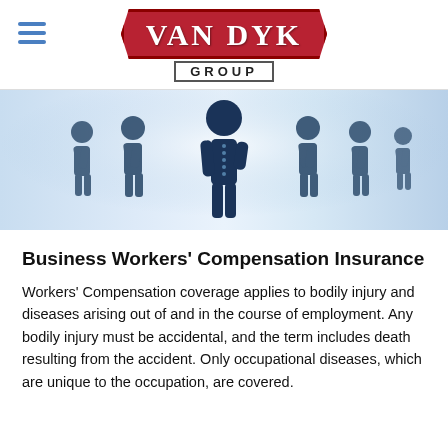VAN DYK GROUP
[Figure (illustration): Hero banner image showing silhouettes of business people figures on a light blue blurred background, with a central larger figure in dark navy blue]
Business Workers' Compensation Insurance
Workers' Compensation coverage applies to bodily injury and diseases arising out of and in the course of employment. Any bodily injury must be accidental, and the term includes death resulting from the accident. Only occupational diseases, which are unique to the occupation, are covered.